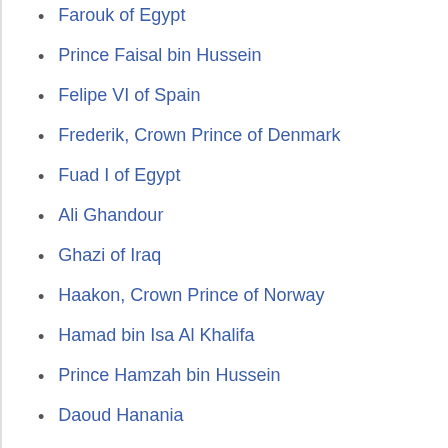Farouk of Egypt
Prince Faisal bin Hussein
Felipe VI of Spain
Frederik, Crown Prince of Denmark
Fuad I of Egypt
Ali Ghandour
Ghazi of Iraq
Haakon, Crown Prince of Norway
Hamad bin Isa Al Khalifa
Prince Hamzah bin Hussein
Daoud Hanania
Prince Hassan bin Talal
Haya bint Hussein
Henrik, Prince Consort of Denmark
David George Hogarth